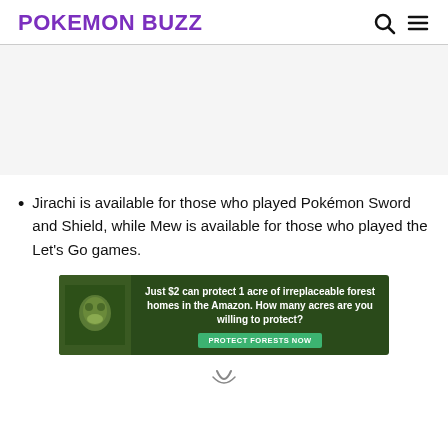POKEMON BUZZ
Jirachi is available for those who played Pokémon Sword and Shield, while Mew is available for those who played the Let's Go games.
[Figure (other): Advertisement banner: green rainforest background with sloth image. Text reads 'Just $2 can protect 1 acre of irreplaceable forest homes in the Amazon. How many acres are you willing to protect?' with a green button 'PROTECT FORESTS NOW']